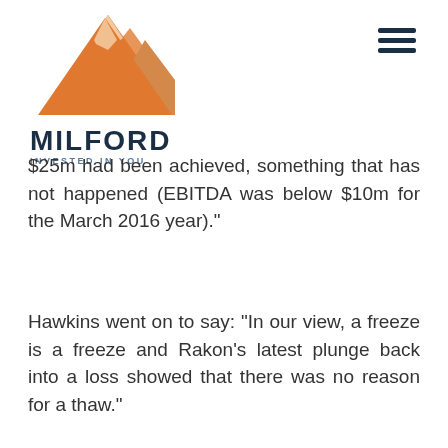[Figure (logo): Milford Asset Management logo — mountain graphic in orange/tan tones with 'MILFORD' in dark navy bold letters and 'INVESTED IN YOU' tagline below]
$25m had been achieved, something that has not happened (EBITDA was below $10m for the March 2016 year)."
Hawkins went on to say: “In our view, a freeze is a freeze and Rakon's latest plunge back into a loss showed that there was no reason for a thaw."